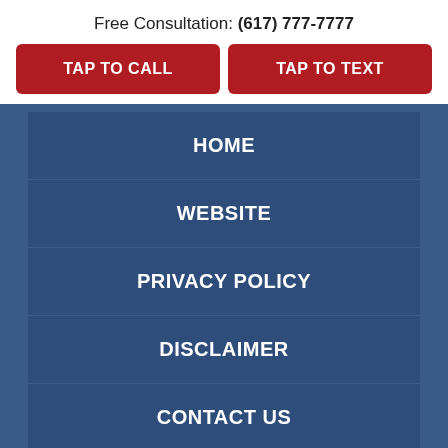Free Consultation: (617) 777-7777
TAP TO CALL
TAP TO TEXT
HOME
WEBSITE
PRIVACY POLICY
DISCLAIMER
CONTACT US
WEBSITE MAP